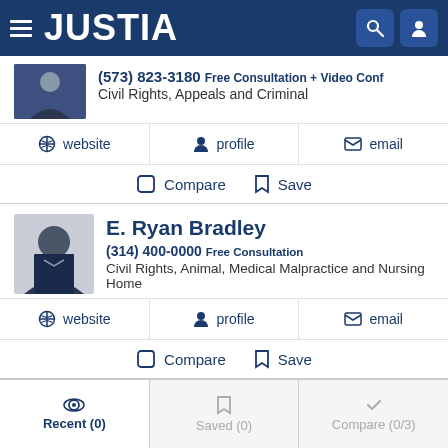JUSTIA
(573) 823-3180 Free Consultation + Video Conf
Civil Rights, Appeals and Criminal
website | profile | email
Compare | Save
E. Ryan Bradley
(314) 400-0000 Free Consultation
Civil Rights, Animal, Medical Malpractice and Nursing Home
website | profile | email
Compare | Save
Recent (0) | Saved (0) | Compare (0/3)